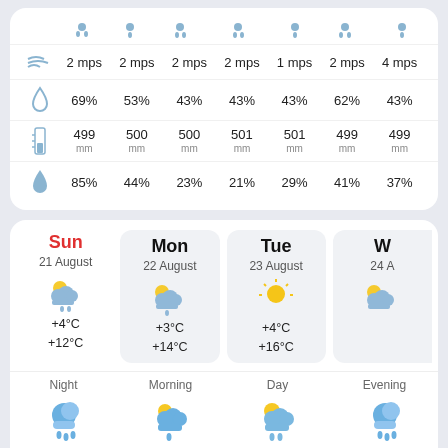| Icon | Col1 | Col2 | Col3 | Col4 | Col5 | Col6 | Col7 |
| --- | --- | --- | --- | --- | --- | --- | --- |
| rain drops icon | – | – | – | – | – | – | – |
| wind icon | 2 mps | 2 mps | 2 mps | 2 mps | 1 mps | 2 mps | 4 mps |
| humidity icon | 69% | 53% | 43% | 43% | 43% | 62% | 43% |
| pressure icon | 499 mm | 500 mm | 500 mm | 501 mm | 501 mm | 499 mm | 499 mm |
| rain % icon | 85% | 44% | 23% | 21% | 29% | 41% | 37% |
| Sun 21 August | Mon 22 August | Tue 23 August | W 24 A |
| --- | --- | --- | --- |
| +4°C / +12°C | +3°C / +14°C | +4°C / +16°C | – |
| Night +4°C Feels like | Morning +4°C Feels like | Day +12°C Feels like | Evening +8°C Feels like |